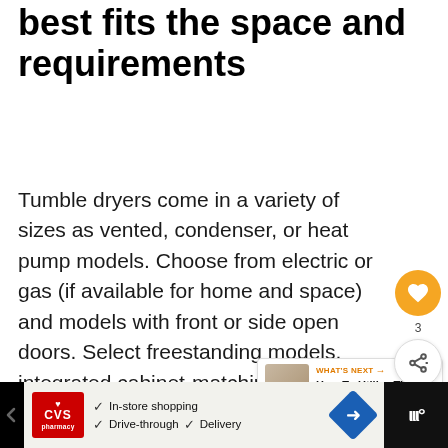best fits the space and requirements
Tumble dryers come in a variety of sizes as vented, condenser, or heat pump models. Choose from electric or gas (if available for home and space) and models with front or side open doors. Select freestanding models, integrated cabinet-matching formats, or semi-integrated models with visible control panels. Let's take a closer look at these options.
[Figure (infographic): WHAT'S NEXT widget with thumbnail image and text 'How To Utilize The Space...']
[Figure (infographic): CVS Pharmacy advertisement banner with options: In-store shopping, Drive-through, Delivery]
[Figure (infographic): Heart/like button (orange circle) with count 3, and share button below]